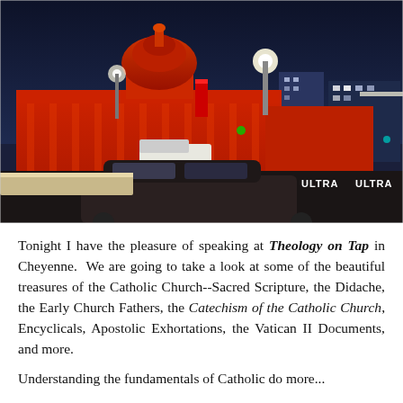[Figure (photo): Nighttime photo of a large government/civic building (likely San Francisco City Hall) illuminated in red/orange light, with a dark blue sky, street lights, a white van, a car in the foreground, and construction barriers with 'ULTRA' signage visible.]
Tonight I have the pleasure of speaking at Theology on Tap in Cheyenne. We are going to take a look at some of the beautiful treasures of the Catholic Church--Sacred Scripture, the Didache, the Early Church Fathers, the Catechism of the Catholic Church, Encyclicals, Apostolic Exhortations, the Vatican II Documents, and more.
Understanding the fundamentals of Catholic do more...